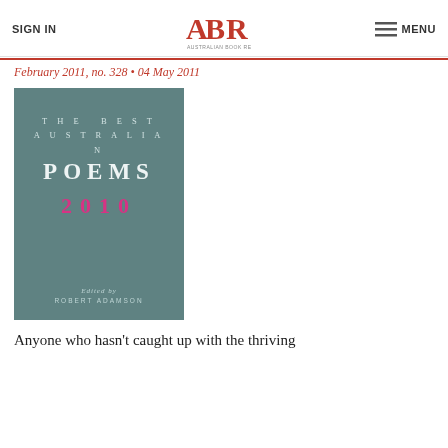SIGN IN | ABR Australian Book Review | MENU
February 2011, no. 328 • 04 May 2011
[Figure (photo): Book cover of 'The Best Australian Poems 2010', edited by Robert Adamson. Teal/grey background with white and pink typography.]
Anyone who hasn't caught up with the thriving